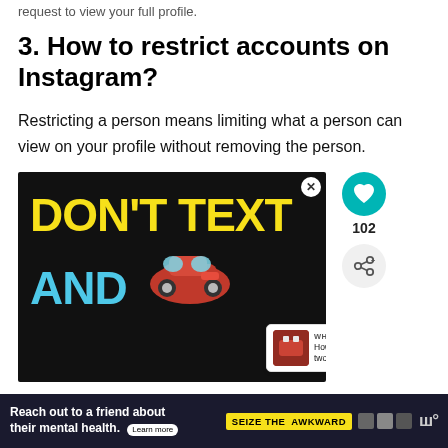request to view your full profile.
3. How to restrict accounts on Instagram?
Restricting a person means limiting what a person can view on your profile without removing the person.
[Figure (photo): Advertisement banner with black background showing 'DON'T TEXT' in large yellow letters and 'AND' in large cyan letters with a cartoon red car graphic. Has a close (X) button in top right.]
[Figure (infographic): Side panel with teal heart/like button, like count 102, share button, and 'WHAT'S NEXT' card showing 'How to merge two Instagra...']
Reach out to a friend about their mental health. Learn more  SEIZE THE  AWKWARD